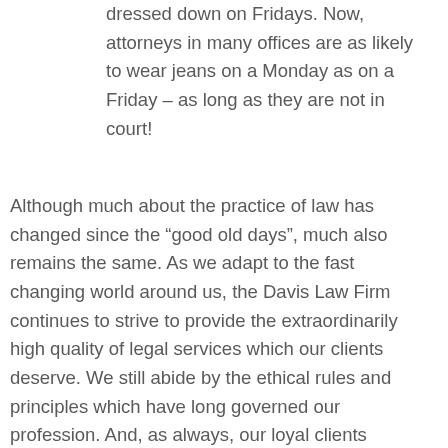dressed down on Fridays. Now, attorneys in many offices are as likely to wear jeans on a Monday as on a Friday – as long as they are not in court!
Although much about the practice of law has changed since the “good old days”, much also remains the same. As we adapt to the fast changing world around us, the Davis Law Firm continues to strive to provide the extraordinarily high quality of legal services which our clients deserve. We still abide by the ethical rules and principles which have long governed our profession. And, as always, our loyal clients remain our singular focus.